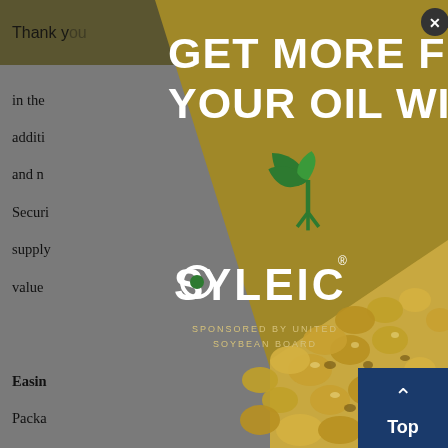Thank you... ools you
in the ... e. In addition ... D and n... Securi... e supply... the value ...
Easin... Packa... ing dispos... d decrea... that re... ind...
[Figure (other): Modal advertisement overlay: Gold/olive background panel with large white bold uppercase text reading 'GET MORE FROM YOUR OIL WITH', green Soyleic logo (plant icon with leaves above stylized text 'SOYLEIC'), small text 'SPONSORED BY UNITED SOYBEAN BOARD'. Bottom-right portion shows close-up photo of soybeans. Close (X) button in top right corner of modal. Behind modal is a dimmed document page with header text and body text visible on sides.]
Top